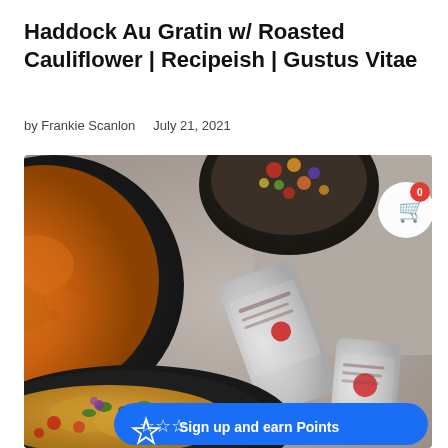Haddock Au Gratin w/ Roasted Cauliflower | Recipeish | Gustus Vitae
by Frankie Scanlon   July 21, 2021
[Figure (photo): Overhead food photo showing a bowl of orange soup, a colorful grain bowl, spice tins from Gustus Vitae, and a pan of breaded haddock au gratin with tomatoes and herbs. A shopping cart button with badge '0' appears in the upper right, and a blue 'Sign up and earn Points' banner at the bottom.]